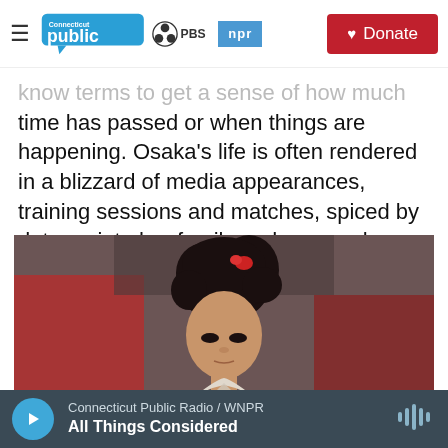Connecticut Public | PBS | NPR | Donate
know terms to get a sense of how much time has passed or when things are happening. Osaka's life is often rendered in a blizzard of media appearances, training sessions and matches, spiced by detours into her family and personal history.
[Figure (photo): A young woman with curly hair adorned with a red hair accessory, wearing a light-colored traditional garment, looking downward. Background shows red elements.]
Connecticut Public Radio / WNPR | All Things Considered